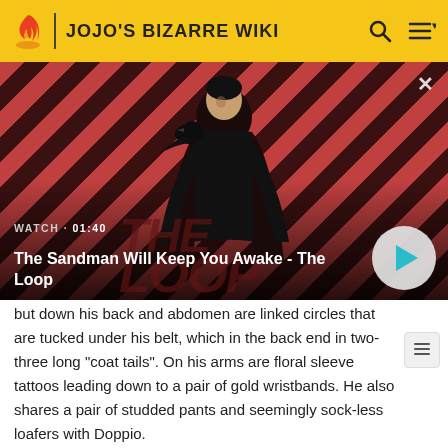JOJO'S BIZARRE WIKI
[Figure (screenshot): Video thumbnail showing a man in black with a raven on his shoulder against a red and dark diagonal striped background. Text overlay: WATCH · 01:40 and title 'The Sandman Will Keep You Awake - The Loop' with a play button.]
but down his back and abdomen are linked circles that are tucked under his belt, which in the back end in two-three long "coat tails". On his arms are floral sleeve tattoos leading down to a pair of gold wristbands. He also shares a pair of studded pants and seemingly sock-less loafers with Doppio.